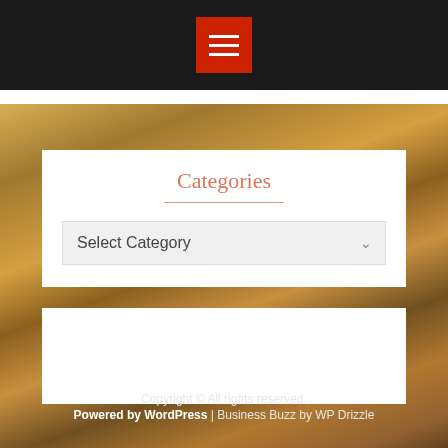[Figure (screenshot): Website screenshot showing a books background with hamburger menu button in red, a Categories section with a dropdown selector, and multiple white content boxes]
Categories
Select Category
Copyright © All rights reserved.
Powered by WordPress | Business Buzz by WP Drizzle